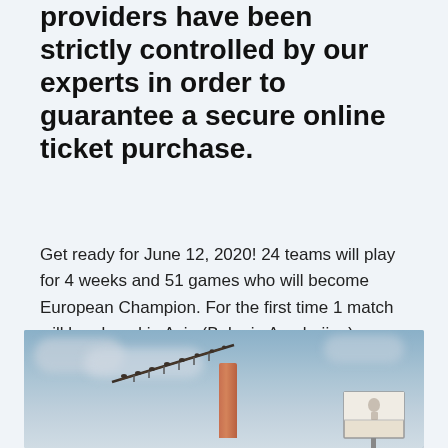providers have been strictly controlled by our experts in order to guarantee a secure online ticket purchase.
Get ready for June 12, 2020! 24 teams will play for 4 weeks and 51 games who will become European Champion. For the first time 1 match will be played in Asia (Baku in Azerbaijan).
[Figure (photo): Photograph of a tall chimney or industrial tower with a large antenna or crane arm extending diagonally, against a partly cloudy blue sky. A billboard is visible in the lower right.]